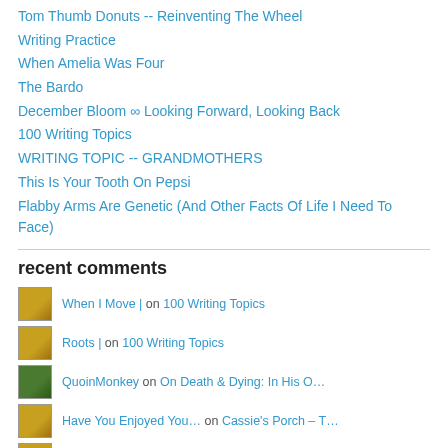Tom Thumb Donuts -- Reinventing The Wheel
Writing Practice
When Amelia Was Four
The Bardo
December Bloom ∞ Looking Forward, Looking Back
100 Writing Topics
WRITING TOPIC -- GRANDMOTHERS
This Is Your Tooth On Pepsi
Flabby Arms Are Genetic (And Other Facts Of Life I Need To Face)
recent comments
When I Move | on 100 Writing Topics
Roots | on 100 Writing Topics
QuoinMonkey on On Death & Dying: In His O…
Have You Enjoyed You… on Cassie's Porch – T…
Have You Enjoyed You… on WRITING TOPIC — GRANDMOT…
Have You Enjoyed You… on When Amelia Was Four
Have You Enjoyed You… on haiku 4 (one-a-day) Meets reno…